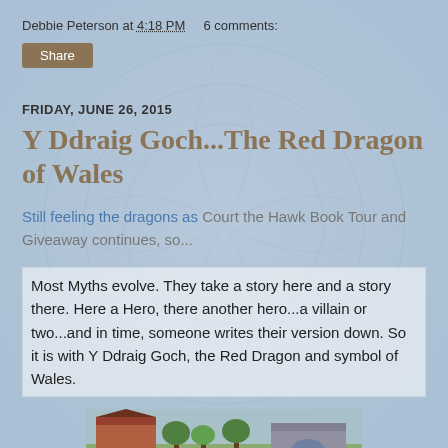Debbie Peterson at 4:18 PM   6 comments:
Share
FRIDAY, JUNE 26, 2015
Y Ddraig Goch...The Red Dragon of Wales
Still feeling the dragons as Court the Hawk Book Tour and Giveaway continues, so...
Most Myths evolve. They take a story here and a story there. Here a Hero, there another hero...a villain or two...and in time, someone writes their version down. So it is with Y Ddraig Goch, the Red Dragon and symbol of Wales.
[Figure (illustration): Partial view of an illustrated scene showing buildings and trees, appearing to be a medieval or fantasy setting]